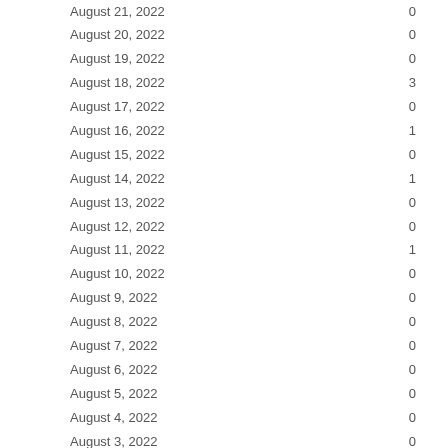| Date | Value |
| --- | --- |
| August 21, 2022 | 0 |
| August 20, 2022 | 0 |
| August 19, 2022 | 0 |
| August 18, 2022 | 3 |
| August 17, 2022 | 0 |
| August 16, 2022 | 1 |
| August 15, 2022 | 0 |
| August 14, 2022 | 1 |
| August 13, 2022 | 0 |
| August 12, 2022 | 0 |
| August 11, 2022 | 1 |
| August 10, 2022 | 0 |
| August 9, 2022 | 0 |
| August 8, 2022 | 0 |
| August 7, 2022 | 0 |
| August 6, 2022 | 0 |
| August 5, 2022 | 0 |
| August 4, 2022 | 0 |
| August 3, 2022 | 0 |
| August 2, 2022 | 0 |
| August 1, 2022 | 0 |
| July 31, 2022 | 0 |
| July 30, 2022 | 0 |